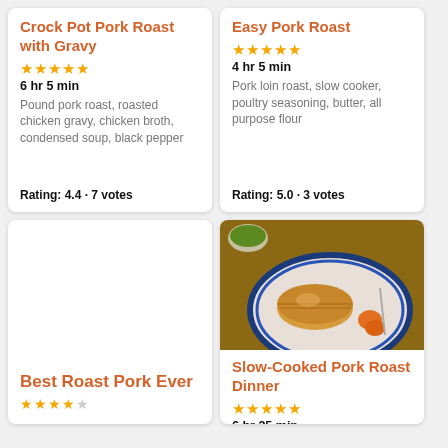Crock Pot Pork Roast with Gravy
★★★★★
6 hr 5 min
Pound pork roast, roasted chicken gravy, chicken broth, condensed soup, black pepper
Rating: 4.4 · 7 votes
Easy Pork Roast
★★★★★
4 hr 5 min
Pork loin roast, slow cooker, poultry seasoning, butter, all purpose flour
Rating: 5.0 · 3 votes
Best Roast Pork Ever
★★★★
[Figure (photo): Sliced pork roast with vegetables on a blue-rimmed white plate, with a small bowl of green sauce in the background on a wooden table]
Slow-Cooked Pork Roast Dinner
★★★★★
6 hr 25 min
Pork loin roast...